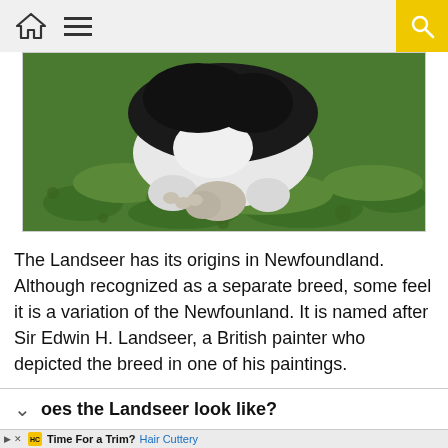Navigation bar with home icon, menu icon, and search button
[Figure (photo): A black and white dog (Landseer breed) playing on green grass/clover, partially visible, with a red toy]
The Landseer has its origins in Newfoundland. Although recognized as a separate breed, some feel it is a variation of the Newfounland. It is named after Sir Edwin H. Landseer, a British painter who depicted the breed in one of his paintings.
What does the Landseer look like?
[Figure (infographic): Advertisement banner: Hair Cuttery 'Time For a Trim?' with HC logo and directional arrow icon]